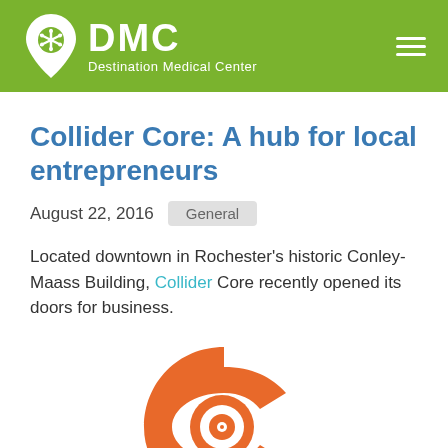DMC Destination Medical Center
Collider Core: A hub for local entrepreneurs
August 22, 2016   General
Located downtown in Rochester's historic Conley-Maass Building, Collider Core recently opened its doors for business.
[Figure (logo): Collider Core orange C-shaped logo with concentric circle target inside]